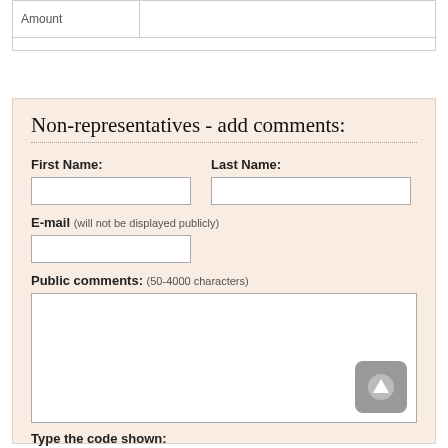| Amount |  |
| --- | --- |
|  |
Non-representatives - add comments:
First Name:
Last Name:
E-mail (will not be displayed publicly)
Public comments: (50-4000 characters)
Type the code shown: